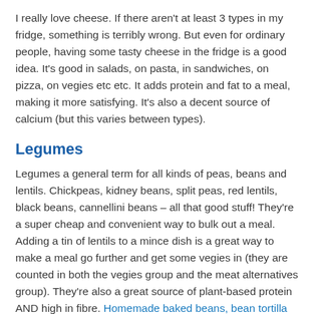I really love cheese. If there aren't at least 3 types in my fridge, something is terribly wrong. But even for ordinary people, having some tasty cheese in the fridge is a good idea. It's good in salads, on pasta, in sandwiches, on pizza, on vegies etc etc. It adds protein and fat to a meal, making it more satisfying. It's also a decent source of calcium (but this varies between types).
Legumes
Legumes a general term for all kinds of peas, beans and lentils. Chickpeas, kidney beans, split peas, red lentils, black beans, cannellini beans – all that good stuff! They're a super cheap and convenient way to bulk out a meal. Adding a tin of lentils to a mince dish is a great way to make a meal go further and get some vegies in (they are counted in both the vegies group and the meat alternatives group). They're also a great source of plant-based protein AND high in fibre. Homemade baked beans, bean tortilla melt and bean salad are just 3 of the tasty